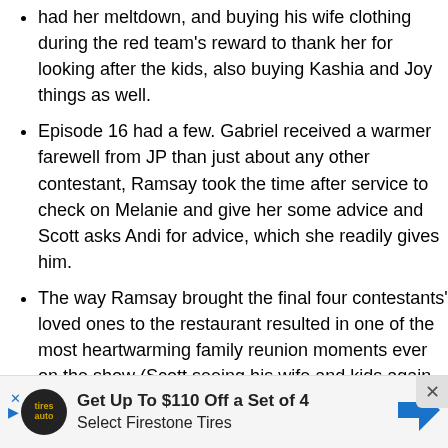had her meltdown, and buying his wife clothing during the red team's reward to thank her for looking after the kids, also buying Kashia and Joy things as well.
Episode 16 had a few. Gabriel received a warmer farewell from JP than just about any other contestant, Ramsay took the time after service to check on Melanie and give her some advice and Scott asks Andi for advice, which she readily gives him.
The way Ramsay brought the final four contestants' loved ones to the restaurant resulted in one of the most heartwarming family reunion moments ever on the show (Scott seeing his wife and kids again was particularly happy-tear jerking).
Rochelle, the first one to be eliminated in "Four Chefs Compete" was praised by Ramsay for being the most energetic chef he'd seen and that she would have a bri...
[Figure (infographic): Advertisement banner: Get Up To $110 Off a Set of 4 Select Firestone Tires, with auto tire logo and direction arrow icon. Close button (x) in top right.]